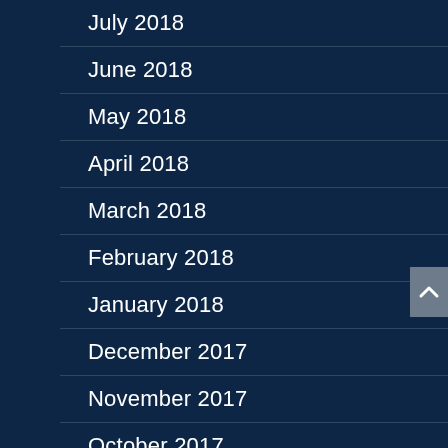July 2018
June 2018
May 2018
April 2018
March 2018
February 2018
January 2018
December 2017
November 2017
October 2017
September 2017
August 2017